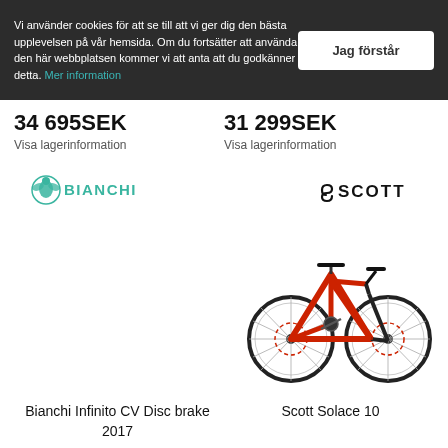Vi använder cookies för att se till att vi ger dig den bästa upplevelsen på vår hemsida. Om du fortsätter att använda den här webbplatsen kommer vi att anta att du godkänner detta. Mer information
Jag förstår
34 695SEK
Visa lagerinformation
31 299SEK
Visa lagerinformation
[Figure (logo): Bianchi brand logo with eagle emblem and BIANCHI text in teal/turquoise]
[Figure (logo): Scott brand logo in black with stylized S and SCOTT text]
[Figure (photo): Red and black carbon road bicycle (Scott Solace 10) on white background]
Bianchi Infinito CV Disc brake 2017
Scott Solace 10